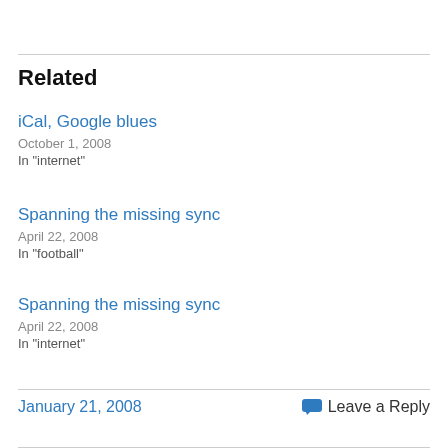Related
iCal, Google blues
October 1, 2008
In "internet"
Spanning the missing sync
April 22, 2008
In "football"
Spanning the missing sync
April 22, 2008
In "internet"
January 21, 2008    Leave a Reply